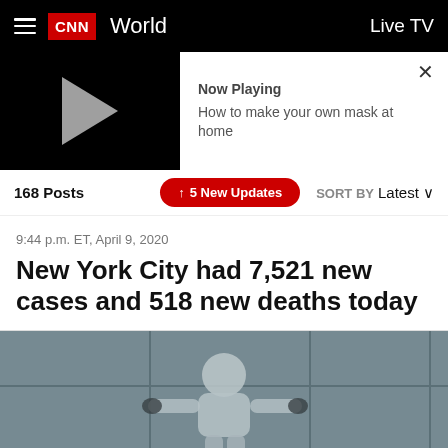CNN World  Live TV
[Figure (screenshot): Video player thumbnail showing play button, with 'Now Playing' panel: 'How to make your own mask at home']
168 Posts   ↑ 5 New Updates   SORT BY Latest
9:44 p.m. ET, April 9, 2020
New York City had 7,521 new cases and 518 new deaths today
[Figure (photo): A person wearing protective gear against a grey wall, viewed from above.]